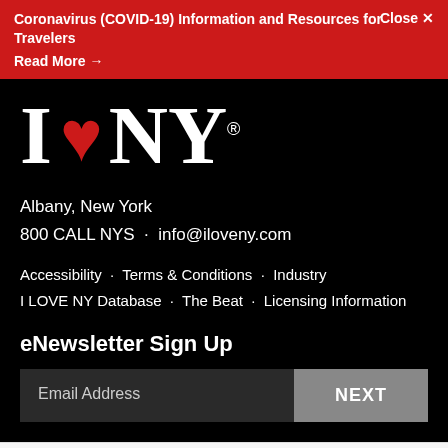Coronavirus (COVID-19) Information and Resources for Travelers  Close ×  Read More →
[Figure (logo): I LOVE NY logo with red heart on black background]
Albany, New York
800 CALL NYS  ·  info@iloveny.com
Accessibility  ·  Terms & Conditions  ·  Industry
I LOVE NY Database  ·  The Beat  ·  Licensing Information
eNewsletter Sign Up
Email Address  NEXT
Cookies are used for measurement, ads, and optimization. By continuing to use our site you agree to our privacy policy.